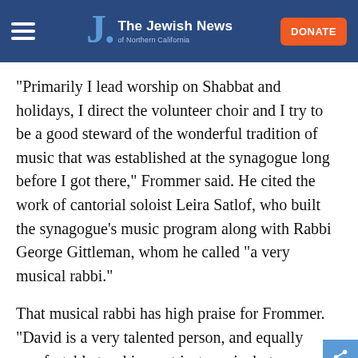The Jewish News of Northern California
“Primarily I lead worship on Shabbat and holidays, I direct the volunteer choir and I try to be a good steward of the wonderful tradition of music that was established at the synagogue long before I got there,” Frommer said. He cited the work of cantorial soloist Leira Satlof, who built the synagogue’s music program along with Rabbi George Gittleman, whom he called “a very musical rabbi.”
That musical rabbi has high praise for Frommer. “David is a very talented person, and equally comfortable teaching not just music, but every